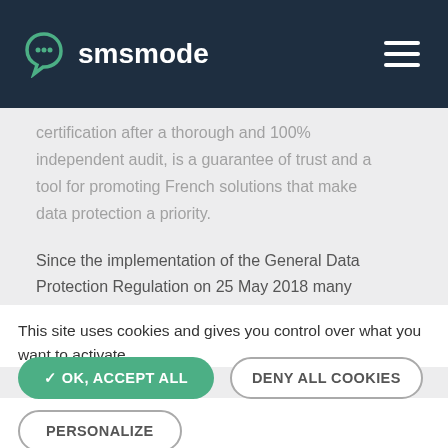smsmode
certification after a thorough and 100% independent audit, is a guarantee of trust and a tool for promoting French solutions that make data protection a priority.
Since the implementation of the General Data Protection Regulation on 25 May 2018 many compliance solutions have emerged, but nothing
This site uses cookies and gives you control over what you want to activate
✓ OK, ACCEPT ALL
DENY ALL COOKIES
PERSONALIZE